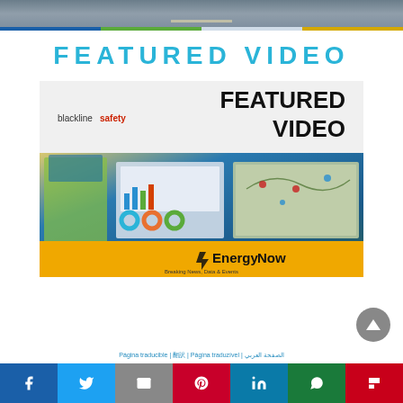[Figure (photo): Top banner image showing a highway/road with a truck, with a colored bar strip (blue, green, light, yellow) at the bottom]
FEATURED VIDEO
[Figure (screenshot): Featured video thumbnail showing Blackline Safety logo, 'FEATURED VIDEO' text overlay, a worker in yellow vest with dashboard/map software screenshots, and EnergyNow branding banner at bottom]
Página traducible | 翻訳 | Página traduzível | الصفحة العربي
[Figure (infographic): Social sharing bar with icons for Facebook, Twitter, Email, Pinterest, LinkedIn, WhatsApp, and Flipboard]